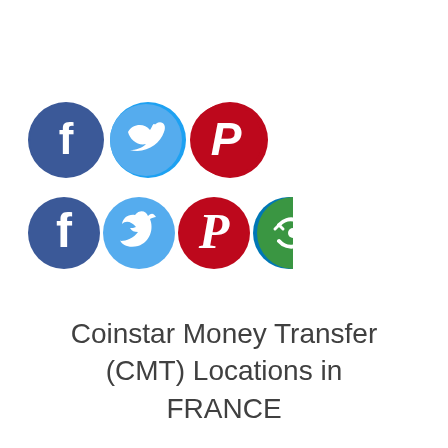[Figure (infographic): Five social media share buttons as colored circles: Facebook (dark blue), Twitter (light blue), Pinterest (red), LinkedIn (dark teal), and a share/refresh icon (green)]
Coinstar Money Transfer (CMT) Locations in FRANCE